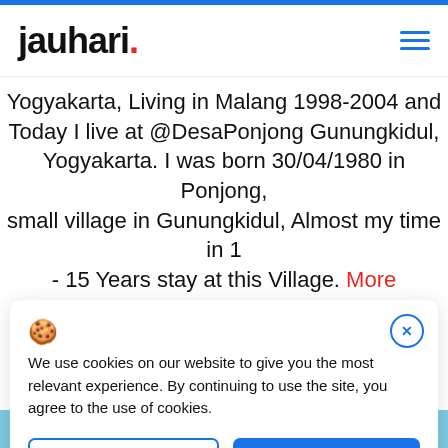jauhari.
Yogyakarta, Living in Malang 1998-2004 and Today I live at @DesaPonjong Gunungkidul, Yogyakarta. I was born 30/04/1980 in Ponjong, small village in Gunungkidul, Almost my time in 1 - 15 Years stay at this Village. More
We use cookies on our website to give you the most relevant experience. By continuing to use the site, you agree to the use of cookies.
Decline
Accept